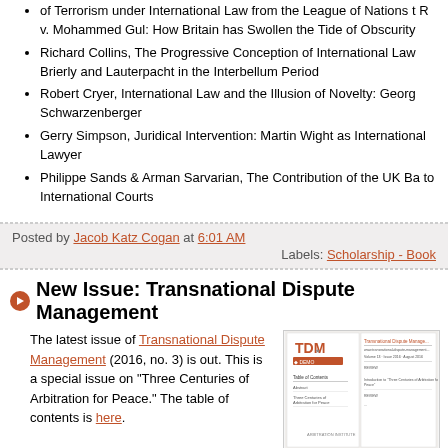of Terrorism under International Law from the League of Nations to R v. Mohammed Gul: How Britain has Swollen the Tide of Obscurity
Richard Collins, The Progressive Conception of International Law: Brierly and Lauterpacht in the Interbellum Period
Robert Cryer, International Law and the Illusion of Novelty: Georg Schwarzenberger
Gerry Simpson, Juridical Intervention: Martin Wight as International Lawyer
Philippe Sands & Arman Sarvarian, The Contribution of the UK Ba to International Courts
Posted by Jacob Katz Cogan at 6:01 AM
Labels: Scholarship - Book
New Issue: Transnational Dispute Management
The latest issue of Transnational Dispute Management (2016, no. 3) is out. This is a special issue on "Three Centuries of Arbitration for Peace." The table of contents is here.
[Figure (photo): Cover image of the Transnational Dispute Management journal, showing the TDM logo and Arbitration Institute branding.]